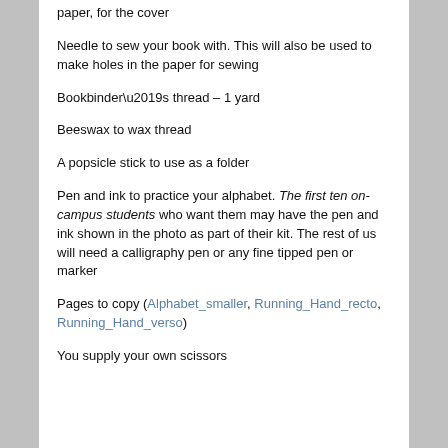paper, for the cover
Needle to sew your book with. This will also be used to make holes in the paper for sewing
Bookbinder’s thread – 1 yard
Beeswax to wax thread
A popsicle stick to use as a folder
Pen and ink to practice your alphabet. The first ten on-campus students who want them may have the pen and ink shown in the photo as part of their kit. The rest of us will need a calligraphy pen or any fine tipped pen or marker
Pages to copy (Alphabet_smaller, Running_Hand_recto, Running_Hand_verso)
You supply your own scissors